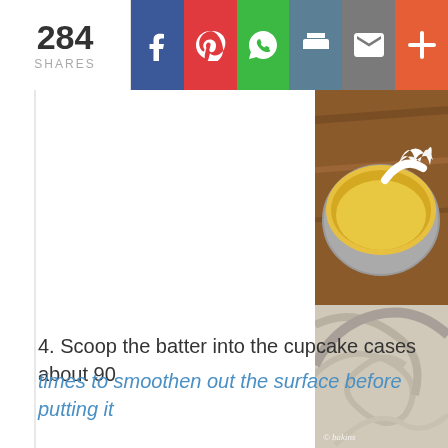284 SHARES | Share buttons: Facebook, Pinterest, WhatsApp, Print, Email, More
[Figure (photo): Bowl with yellow batter and white whipped cream being added on top, wooden surface background]
[Figure (photo): Close-up of smooth pale beige batter in a bowl with swirl marks, watermark reading © bakins]
4. Scoop the batter into the cupcake cases about 90
times to smoothen out the surface before putting it